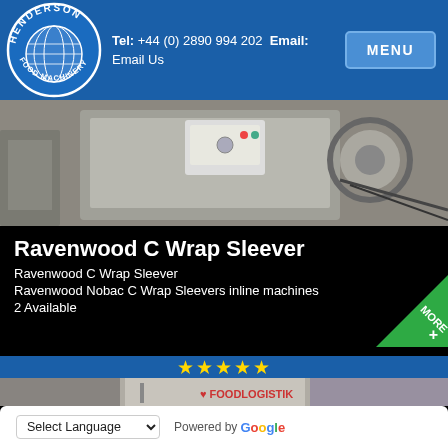Tel: +44 (0) 2890 994 202 Email: Email Us
[Figure (logo): Henderson Food Machinery circular logo with globe]
[Figure (photo): Industrial food machinery equipment photo – top]
Ravenwood C Wrap Sleever
Ravenwood C Wrap Sleever
Ravenwood Nobac C Wrap Sleevers inline machines
2 Available
[Figure (photo): FoodLogistik industrial machine photo – bottom section with star rating]
Select Language  Powered by Google